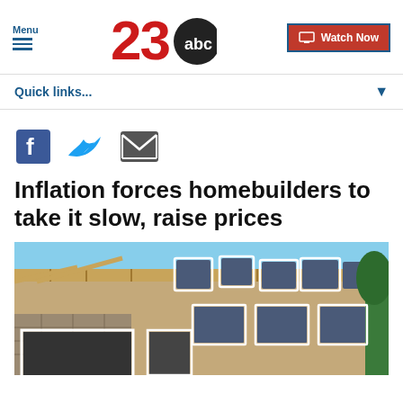Menu | 23ABC | Watch Now
Quick links...
[Figure (other): Social share icons: Facebook, Twitter, Email]
Inflation forces homebuilders to take it slow, raise prices
[Figure (photo): Photo of a house under construction showing framing, stone facade, and blue sky background]